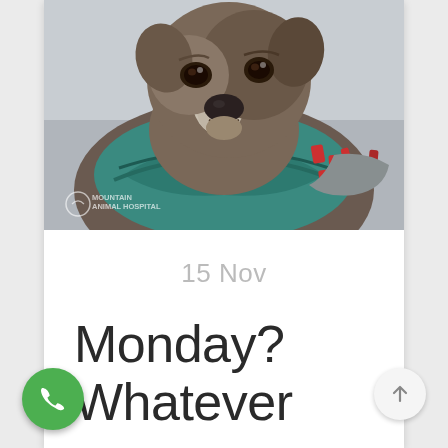[Figure (photo): A dog (appears to be a pit bull type) wrapped in a colorful teal and red patterned fleece scarf/blanket, looking at the camera with a melancholy expression. Watermark in lower left reads 'MOUNTAIN ANIMAL HOSPITAL'.]
15 Nov
Monday?
Whatever